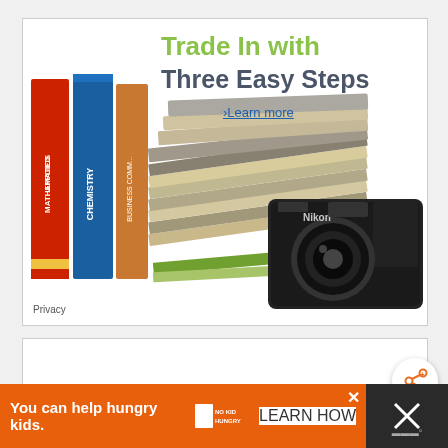[Figure (infographic): Amazon Trade-In advertisement banner showing books (Applied Mathematics, Chemistry, Business Communications), a stack of CDs/DVDs, and a Nikon DSLR camera. Text says 'Trade In with Three Easy Steps' with a 'Learn more' link and 'Privacy' label at bottom-left.]
[Figure (other): White empty content panel below the top ad.]
[Figure (other): Share button icon (orange share symbol with plus) in bottom right area of middle panel.]
[Figure (infographic): Bottom banner ad: orange background with text 'You can help hungry kids.' No Kid Hungry logo and 'LEARN HOW' button. Close X button and dark right panel with X and mic icon.]